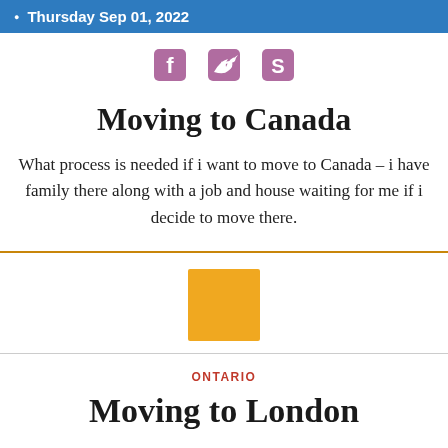Thursday Sep 01, 2022
[Figure (other): Social media icons: Facebook, Twitter, Skype in pink/mauve color]
Moving to Canada
What process is needed if i want to move to Canada – i have family there along with a job and house waiting for me if i decide to move there.
[Figure (other): Orange/amber square thumbnail image]
ONTARIO
Moving to London